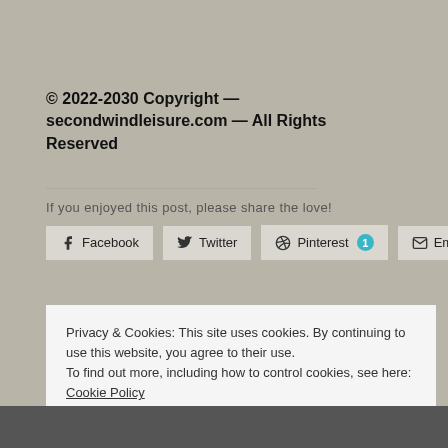© 2022-2030 Copyright — secondwindleisure.com — All Rights Reserved
If you enjoyed this post, please share the love!
Facebook  Twitter  Pinterest 1  Email
Privacy & Cookies: This site uses cookies. By continuing to use this website, you agree to their use.
To find out more, including how to control cookies, see here: Cookie Policy
Close and accept